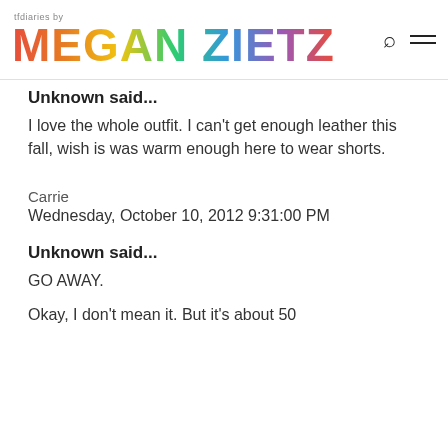tfdiaries by MEGAN ZIETZ
Unknown said...
I love the whole outfit. I can't get enough leather this fall, wish is was warm enough here to wear shorts.
Carrie
Wednesday, October 10, 2012 9:31:00 PM
Unknown said...
GO AWAY.
Okay, I don't mean it. But it's about 50